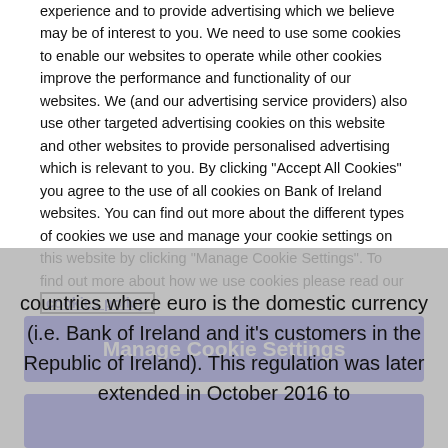experience and to provide advertising which we believe may be of interest to you. We need to use some cookies to enable our websites to operate while other cookies improve the performance and functionality of our websites. We (and our advertising service providers) also use other targeted advertising cookies on this website and other websites to provide personalised advertising which is relevant to you. By clicking "Accept All Cookies" you agree to the use of all cookies on Bank of Ireland websites. You can find out more about the different types of cookies we use and manage your cookie settings on this website by clicking "Manage Cookie Settings". To find out more about how we use cookies please read our cookies policy.
Manage Cookie Settings
countries where euro is the domestic currency (i.e. Bank of Ireland and it's customers in the Republic of Ireland). This regulation was later extended in October 2016 to